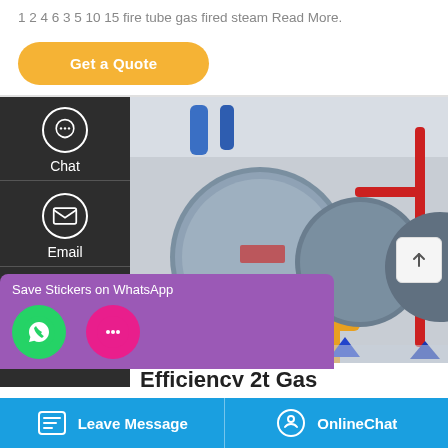1 2 4 6 3 5 10 15 fire tube gas fired steam Read More.
Get a Quote
[Figure (photo): Industrial boiler room with large cylindrical gas-fired steam boilers, orange/yellow piping, red pipes, and blue components in a factory setting]
Efficiency 2t Gas
Chat
Email
Contact
Save Stickers on WhatsApp
Leave Message
OnlineChat